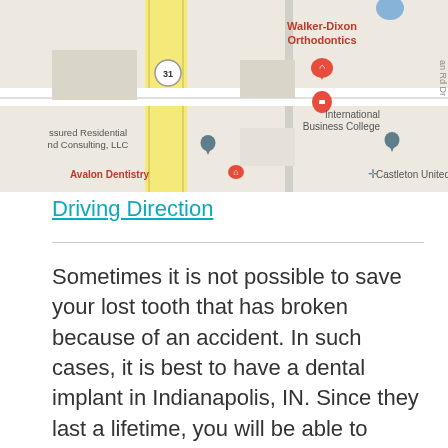[Figure (map): Google Maps screenshot showing Walker-Dixon Orthodontics location with nearby landmarks including Assured Residential and Consulting LLC, Avalon Dentistry, International Business College, and Castleton United. A red pin marks the orthodontics location.]
Driving Direction
Sometimes it is not possible to save your lost tooth that has broken because of an accident. In such cases, it is best to have a dental implant in Indianapolis, IN. Since they last a lifetime, you will be able to enjoy your meals and give the best smile just like everyone else. If you have lost your teeth and need dental implants in Indianapolis, IN